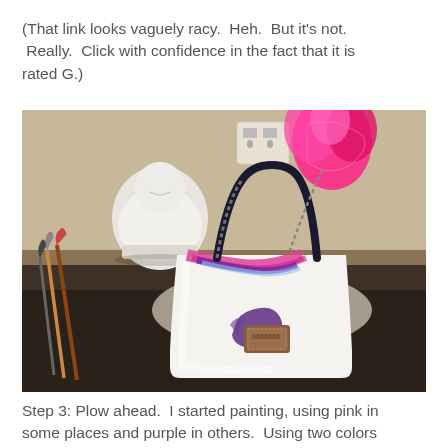(That link looks vaguely racy.  Heh.  But it's not.  Really.  Click with confidence in the fact that it is rated G.)
[Figure (photo): A white canvas handbag with a brown leather logo patch, painted with purple and pink/magenta brush strokes. The bag sits on a table with paintbrushes visible on the left. A white ceramic Buddha figurine is in the background upper left, and a pink feathery item hangs from the bag's handles. The setting appears to be a craft/painting workspace.]
Step 3: Plow ahead.  I started painting, using pink in some places and purple in others.  Using two colors